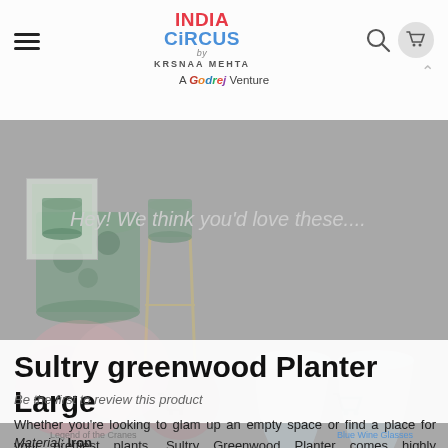[Figure (screenshot): India Circus by Krsnaa Mehta website header with logo, hamburger menu, search and cart icons, and 'A Godrej Venture' tagline]
[Figure (photo): Background product showcase images: green planter, tall stand planter, roses, crystal wine glasses overlaid behind main content]
Hey! We think you'd love these....
Sultry greenwood Planter Large
Be the first to review this product
Whether you're looking to glam up an empty space or find a place for your prettiest plants, Sultry Greenwood Planter comes highly recommended. With its beautiful depiction of nature, your plant will immediately feel at home in this planter. Explore our range of planters online to select your favourite one.
Material: Iron
Type of Finish: Enamel & Powder Coated Finish
You can match it with exquisite plants and place the mid-century-sty...
Legend of the Cranes
Blue Wine Glasses (set of 2)